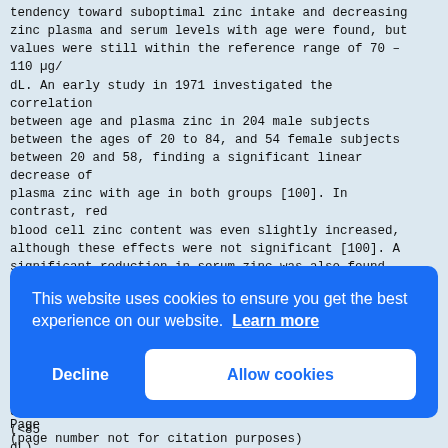tendency toward suboptimal zinc intake and decreasing zinc plasma and serum levels with age were found, but values were still within the reference range of 70 – 110 µg/ dL. An early study in 1971 investigated the correlation between age and plasma zinc in 204 male subjects between the ages of 20 to 84, and 54 female subjects between 20 and 58, finding a significant linear decrease of plasma zinc with age in both groups [100]. In contrast, red blood cell zinc content was even slightly increased, although these effects were not significant [100]. A significant reduction in serum zinc was also found for the 'oldest old' (≥ 90 years), compared to healthy elderly between 65 and 89 years and adults between 20 to 64 years [101]. Three other studies did also not find a high prevalence of zinc deficiency (<85 µg/ dL) sign below zinc conc to a gr
[Figure (screenshot): Cookie consent banner overlay with blue background. Text reads: 'This website uses cookies to ensure you get the best experience on our website. Learn more'. Buttons: 'Decline' (text only) and 'Allow cookies' (white rounded button).]
Page (page number not for citation purposes)